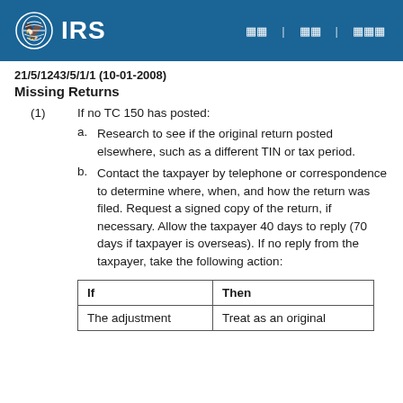IRS
21/5/1243/5/1/1 (10-01-2008)
Missing Returns
(1) If no TC 150 has posted:
a. Research to see if the original return posted elsewhere, such as a different TIN or tax period.
b. Contact the taxpayer by telephone or correspondence to determine where, when, and how the return was filed. Request a signed copy of the return, if necessary. Allow the taxpayer 40 days to reply (70 days if taxpayer is overseas). If no reply from the taxpayer, take the following action:
| If | Then |
| --- | --- |
| The adjustment | Treat as an original |